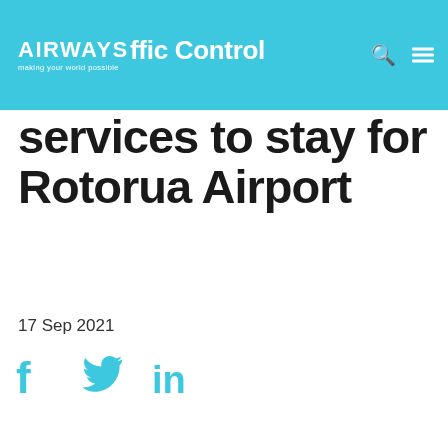Airways — making your world possible — Air Traffic Control
Air Traffic Control services to stay for Rotorua Airport
17 Sep 2021
[Figure (other): Social media share icons: Facebook, Twitter, LinkedIn]